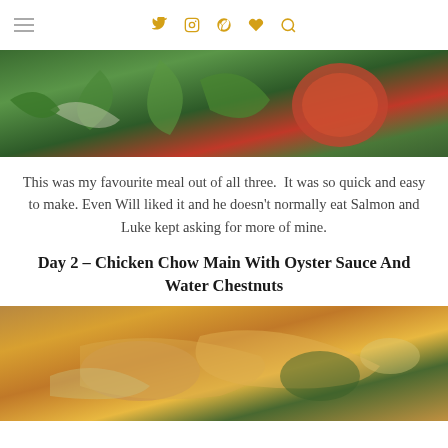navigation icons: hamburger menu, Twitter, Instagram, Pinterest, heart/favorites, search
[Figure (photo): Close-up photo of fresh vegetables including green leaves, snap peas, onion slices, and a tomato on a plate]
This was my favourite meal out of all three.  It was so quick and easy to make. Even Will liked it and he doesn't normally eat Salmon and Luke kept asking for more of mine.
Day 2 – Chicken Chow Main With Oyster Sauce And Water Chestnuts
[Figure (photo): Photo of a bowl of chicken chow mein with oyster sauce and water chestnuts, showing noodles, carrots, broccoli, and chicken pieces]